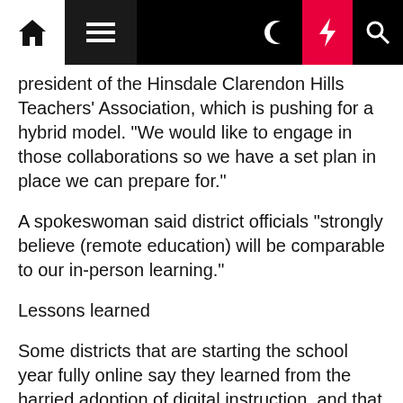Navigation bar with home, menu, dark mode, bolt, and search icons
president of the Hinsdale Clarendon Hills Teachers' Association, which is pushing for a hybrid model. “We would like to engage in those collaborations so we have a set plan in place we can prepare for.”
A spokeswoman said district officials “strongly believe (remote education) will be comparable to our in-person learning.”
Lessons learned
Some districts that are starting the school year fully online say they learned from the harried adoption of digital instruction, and that the experience should be significantly better this fall. For one thing, they note, students’ grades will count this time, which should produce an accountability lacking in the spring.
“It’ll be the same level of expectation as if we were